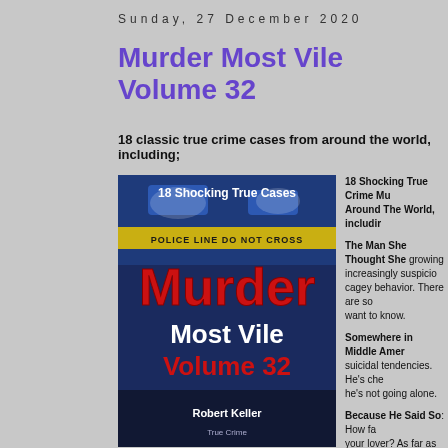Sunday, 27 December 2020
Murder Most Vile Volume 32
18 classic true crime cases from around the world, including;
[Figure (photo): Book cover of 'Murder Most Vile Volume 32' showing a police line do not cross tape with large red text reading 'Murder Most Vile Volume 32' and subtitle '18 Shocking True Cases']
18 Shocking True Crime Murders From Around The World, including;

The Man She Thought She — growing increasingly suspicious of his cagey behavior. There are so — want to know.

Somewhere in Middle Amer — suicidal tendencies. He's che — he's not going alone.

Because He Said So: How fa — your lover? As far as murder?